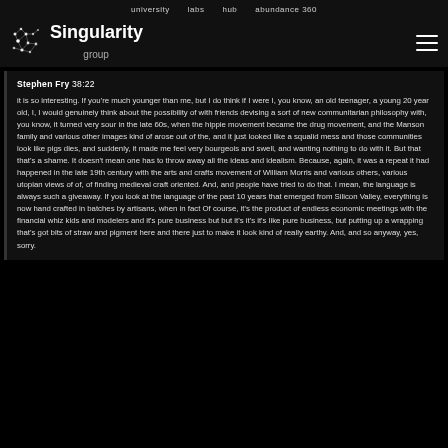university   labs   hub   abundance 360
[Figure (logo): Singularity Group logo with dot-network icon and text 'Singularity group']
Stephen Fry 38:22

it is so interesting. If you're much younger than me, but I do think if I were I, you know, an old teenager, a young 20 year old, I, I would genuinely think about the possibility of with friends devising a sort of new communitarian philosophy with, you know, it turned very sour in the late 60s, when the hippie movement became the drug movement, and the Manson family and various other images kind of arose out of the, and it just looked like a squalid mess and those communities look like pigs dies, and suddenly, it made me feel very bourgeois and swell, and wanting nothing to do with it. But that that's a shame. It doesn't mean one has to throw away all the ideas and idealism. Because, again, it was a repeat it had happened in the late 19th century with the arts and crafts movement of William Morris and various others, various utopian views of of, of finding medieval craft oriented. And, and people have tried to do that. I mean, the language is always such a giveaway. If you look at the language of the past 10 years that emerged from Silicon Valley, everything is now hand crafted in batches by artisans, when in fact Of course, it's the product of endless economic meetings with the financial whiz kids and modelers and it's pure business but but it's it's it's like pure business, but putting up a wrapping that's got bits of straw and pigment here and there just to make it look kind of really earthy. And, and so anyway, yes, sorry.